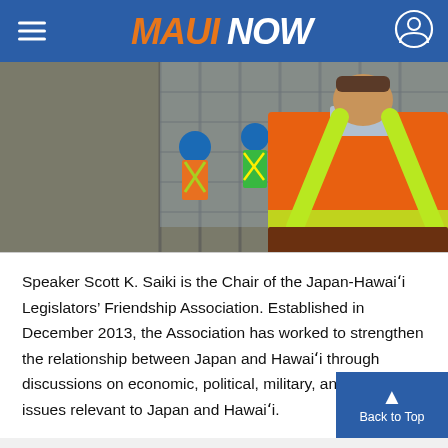MAUI NOW
[Figure (photo): Construction workers wearing orange safety vests with yellow reflective stripes at a construction site. The foreground shows the back of a worker in an orange hi-vis vest, with other workers in orange and green vests visible in the background near scaffolding.]
Speaker Scott K. Saiki is the Chair of the Japan-Hawaiʻi Legislators’ Friendship Association. Established in December 2013, the Association has worked to strengthen the relationship between Japan and Hawaiʻi through discussions on economic, political, military, and other issues relevant to Japan and Hawaiʻi.